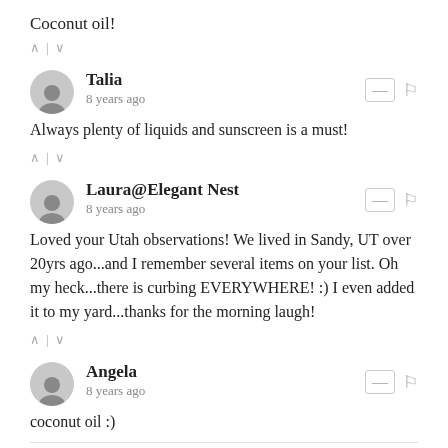Coconut oil!
^ | v
Talia
8 years ago
Always plenty of liquids and sunscreen is a must!
^ | v
Laura@Elegant Nest
8 years ago
Loved your Utah observations! We lived in Sandy, UT over 20yrs ago...and I remember several items on your list. Oh my heck...there is curbing EVERYWHERE! :) I even added it to my yard...thanks for the morning laugh!
^ | v
Angela
8 years ago
coconut oil :)
^ | v
Vikki